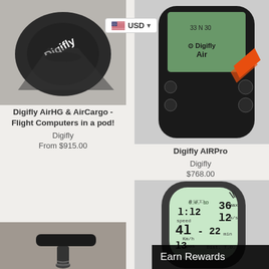[Figure (photo): Digifly branded black product (pod flight computer) on light background, top-left]
[Figure (photo): Digifly AIRPro flight computer device with black body and orange accents, top-right]
USD
Digifly AirHG & AirCargo - Flight Computers in a pod!
Digifly
From $915.00
Digifly AIRPro
Digifly
$768.00
[Figure (photo): Small black Digifly device/accessory with screw, bottom-left]
[Figure (photo): Digifly vario/flight computer with light green LCD display showing flight data, bottom-right]
Earn Rewards